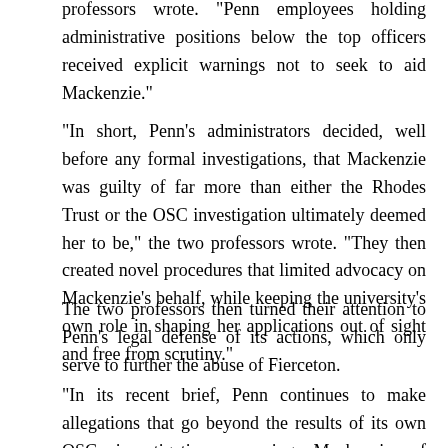professors wrote. "Penn employees holding administrative positions below the top officers received explicit warnings not to seek to aid Mackenzie."
"In short, Penn's administrators decided, well before any formal investigations, that Mackenzie was guilty of far more than either the Rhodes Trust or the OSC investigation ultimately deemed her to be," the two professors wrote. "They then created novel procedures that limited advocacy on Mackenzie's behalf, while keeping the university's own role in shaping her applications out of sight and free from scrutiny."
The two professors then turned their attention to Penn's legal defense of its actions, which only serve to further the abuse of Fierceton.
"In its recent brief, Penn continues to make allegations that go beyond the results of its own OSC investigation, accusing Mackenzie of repeated ‘fraud, deceit, and